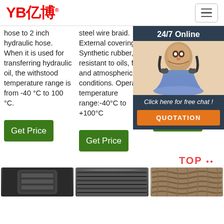YB亿博
hose to 2 inch hydraulic hose. When it is used for transferring hydraulic oil, the withstood temperature range is from -40 °C to 100 °C.
steel wire braid. External covering: Synthetic rubber, resistant to oils, fuels and atmospheric conditions. Operating temperature range:-40°C to +100°C
DIN-EN 853-1SN is widely used in the oil-pressure equipment for high pressure range below 200. It is resistant rubber. Reinforcement: Single layer of steel tensile spiral reinforcement.
[Figure (photo): Customer service agent with headset, chat overlay with '24/7 Online', 'Click here for free chat!' and QUOTATION button]
[Figure (photo): Bottom row of product images: dark hose, braided hose, woven hose]